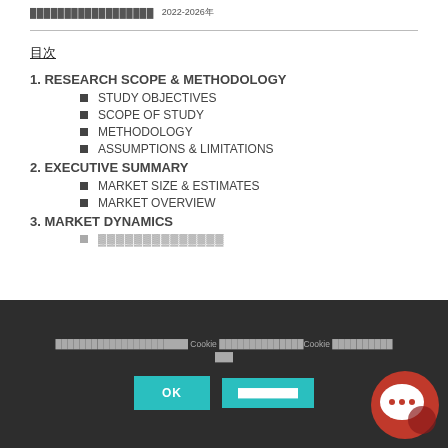…………………………… 2022-2026年
目次
1. RESEARCH SCOPE & METHODOLOGY
STUDY OBJECTIVES
SCOPE OF STUDY
METHODOLOGY
ASSUMPTIONS & LIMITATIONS
2. EXECUTIVE SUMMARY
MARKET SIZE & ESTIMATES
MARKET OVERVIEW
3. MARKET DYNAMICS
DRIVER/MARKET ANALYSIS
…………………………………… Cookie ………………………Cookie ………………… 。。。
OK
……………………